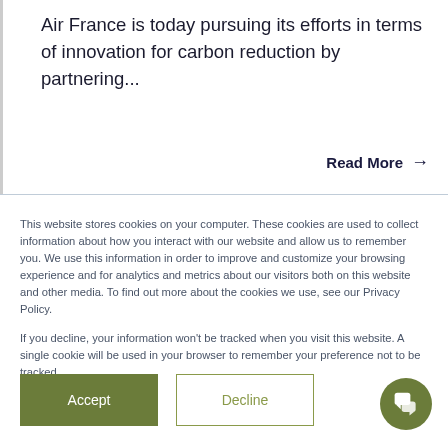Air France is today pursuing its efforts in terms of innovation for carbon reduction by partnering...
Read More →
This website stores cookies on your computer. These cookies are used to collect information about how you interact with our website and allow us to remember you. We use this information in order to improve and customize your browsing experience and for analytics and metrics about our visitors both on this website and other media. To find out more about the cookies we use, see our Privacy Policy.
If you decline, your information won't be tracked when you visit this website. A single cookie will be used in your browser to remember your preference not to be tracked.